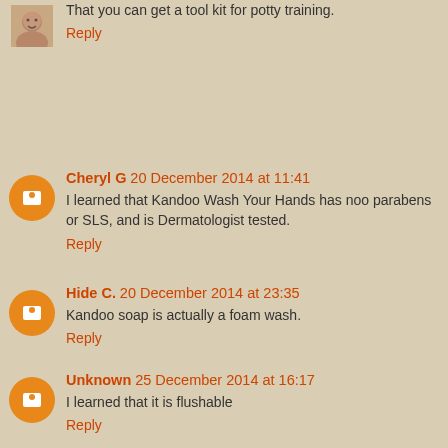That you can get a tool kit for potty training.
Reply
Cheryl G 20 December 2014 at 11:41
I learned that Kandoo Wash Your Hands has noo parabens or SLS, and is Dermatologist tested.
Reply
Hide C. 20 December 2014 at 23:35
Kandoo soap is actually a foam wash.
Reply
Unknown 25 December 2014 at 16:17
I learned that it is flushable
Reply